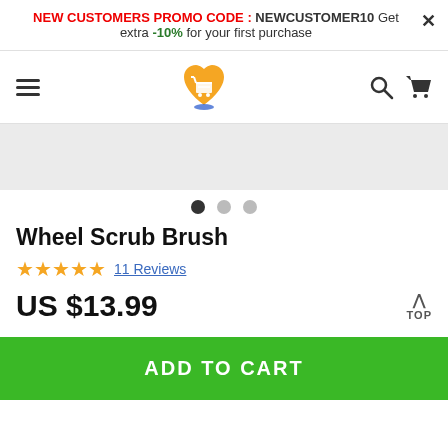NEW CUSTOMERS PROMO CODE : NEWCUSTOMER10 Get extra -10% for your first purchase
[Figure (logo): E-commerce site logo: orange heart with shopping cart icon]
[Figure (other): Product image area (gray placeholder)]
Wheel Scrub Brush
11 Reviews
US $13.99
ADD TO CART